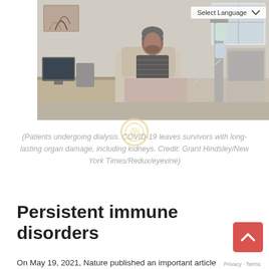[Figure (photo): A patient sitting in a medical recliner chair undergoing dialysis treatment, with medical equipment including IV stands and monitors visible in the background. A 'Select Language' dropdown is overlaid in the top-right corner of the image.]
(Patients undergoing dialysis. COVID-19 leaves survivors with long-lasting organ damage, including kidneys. Credit: Grant Hindsley/New York Times/Redux/eyevine)
Persistent immune disorders
On May 19, 2021, Nature published an important article